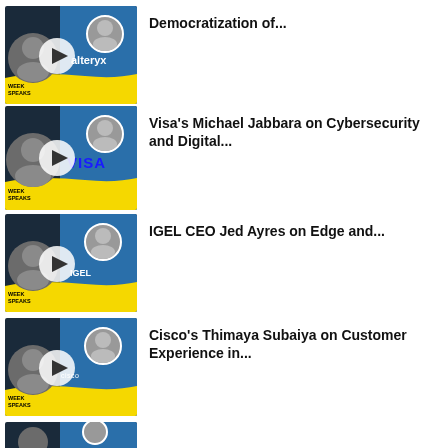[Figure (screenshot): Thumbnail for Alteryx video - Democratization of...]
Democratization of...
[Figure (screenshot): Thumbnail for Visa's Michael Jabbara video - Cybersecurity and Digital...]
Visa's Michael Jabbara on Cybersecurity and Digital...
[Figure (screenshot): Thumbnail for IGEL CEO Jed Ayres video - Edge and...]
IGEL CEO Jed Ayres on Edge and...
[Figure (screenshot): Thumbnail for Cisco's Thimaya Subaiya video - Customer Experience in...]
Cisco's Thimaya Subaiya on Customer Experience in...
[Figure (screenshot): Partial thumbnail, last list item, partially obscured by overlay dialog]